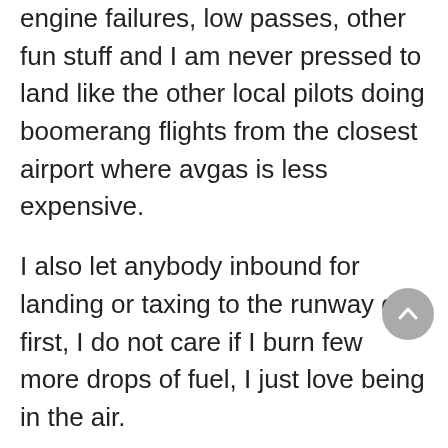engine failures, low passes, other fun stuff and I am never pressed to land like the other local pilots doing boomerang flights from the closest airport where avgas is less expensive.
I also let anybody inbound for landing or taxing to the runway go first, I do not care if I burn few more drops of fuel, I just love being in the air.
I am now totally happy also because the Sinus is now hangered and protected from the elements, I can move it alone with two fingers in and out of the hangar, I no longer need to go around an almost deserted airport to beg for help when I fly alone.
The only bad thing is that...